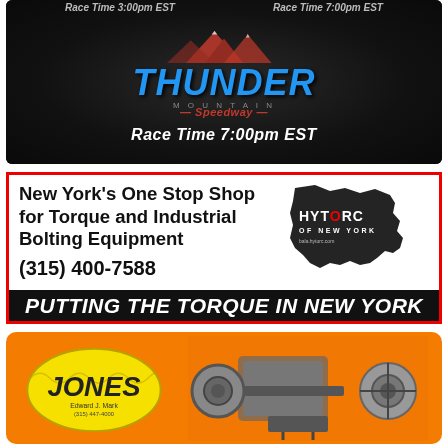[Figure (advertisement): Thunder Mountain Speedway advertisement on dark textured background with mountains graphic, blue stylized THUNDER text, red script subtitle, and white Race Time 7:00pm EST text. Top banner shows Race Time 3:00pm EST and Race Time 7:00pm EST.]
[Figure (advertisement): HYTORC of New York advertisement with red border. Left side: bold black text 'New York's One Stop Shop for Torque and Industrial Bolting Equipment', phone (315) 400-7588. Right side: NY state silhouette in black with HYTORC OF NEW YORK logo. Bottom: black bar with white italic text PUTTING THE TORQUE IN NEW YORK.]
[Figure (advertisement): Jones advertisement with orange background showing yellow Jones logo oval on left and mechanical engine/drivetrain components on right.]